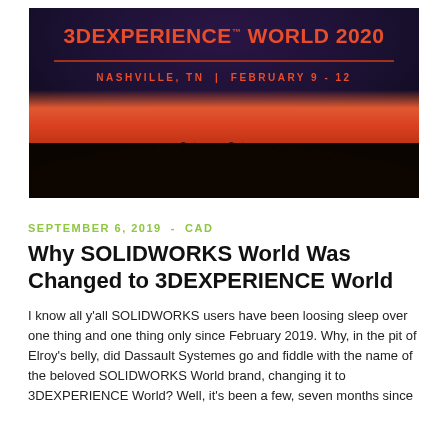[Figure (photo): 3DEXPERIENCE World 2020 event banner showing a dark auditorium with crowd silhouettes against a red-lit stage. Text reads '3DEXPERIENCE WORLD 2020' and 'NASHVILLE, TN | FEBRUARY 9 - 12']
SEPTEMBER 6, 2019  -  CAD
Why SOLIDWORKS World Was Changed to 3DEXPERIENCE World
I know all y'all SOLIDWORKS users have been loosing sleep over one thing and one thing only since February 2019. Why, in the pit of Elroy's belly, did Dassault Systemes go and fiddle with the name of the beloved SOLIDWORKS World brand, changing it to 3DEXPERIENCE World? Well, it's been a few, seven months since